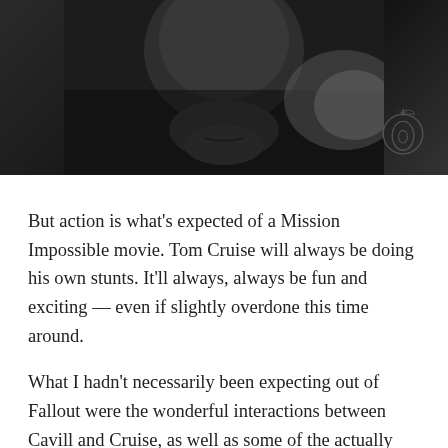[Figure (photo): Dark cinematic still showing a man's face from the chin/mouth area, dimly lit against a dark background, with The Onion logo watermark in the bottom right corner]
But action is what's expected of a Mission Impossible movie. Tom Cruise will always be doing his own stunts. It'll always, always be fun and exciting — even if slightly overdone this time around.
What I hadn't necessarily been expecting out of Fallout were the wonderful interactions between Cavill and Cruise, as well as some of the actually stunning shots in the film.
On the first point, watching Cavill come into the MI universe with such a robust, fun role actually made me mad. He is a great actor who really sells a complex (though somewhat predictable) character who fits right